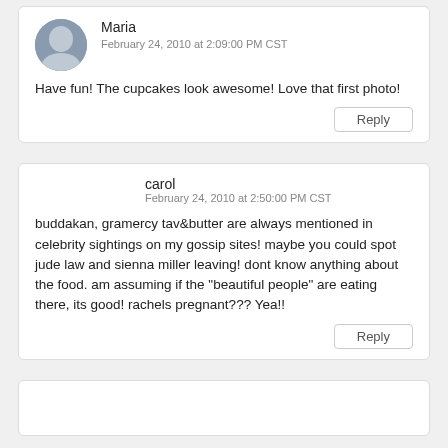Maria
February 24, 2010 at 2:09:00 PM CST
Have fun! The cupcakes look awesome! Love that first photo!
Reply
carol
February 24, 2010 at 2:50:00 PM CST
buddakan, gramercy tav&butter are always mentioned in celebrity sightings on my gossip sites! maybe you could spot jude law and sienna miller leaving! dont know anything about the food. am assuming if the "beautiful people" are eating there, its good! rachels pregnant??? Yea!!
Reply